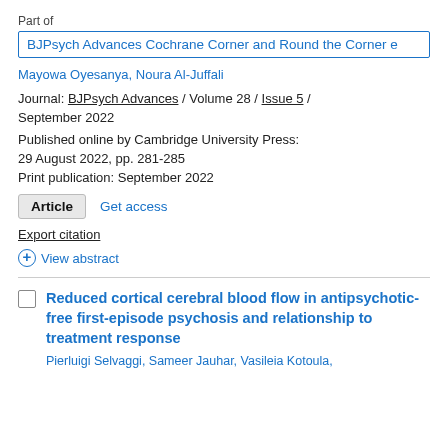Part of
BJPsych Advances Cochrane Corner and Round the Corner e
Mayowa Oyesanya, Noura Al-Juffali
Journal: BJPsych Advances / Volume 28 / Issue 5 / September 2022
Published online by Cambridge University Press: 29 August 2022, pp. 281-285
Print publication: September 2022
Article   Get access
Export citation
View abstract
Reduced cortical cerebral blood flow in antipsychotic-free first-episode psychosis and relationship to treatment response
Pierluigi Selvaggi, Sameer Jauhar, Vasileia Kotoula,